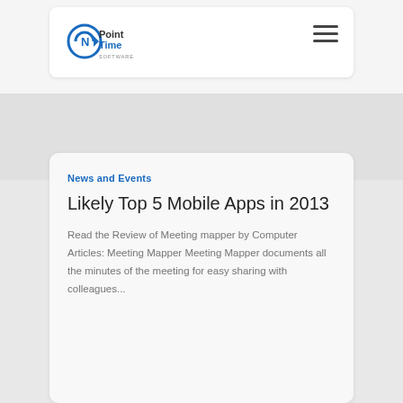[Figure (logo): Point N Time Software logo with circular arrow icon and company name]
News and Events
Likely Top 5 Mobile Apps in 2013
Read the Review of Meeting mapper by Computer Articles: Meeting Mapper Meeting Mapper documents all the minutes of the meeting for easy sharing with colleagues...